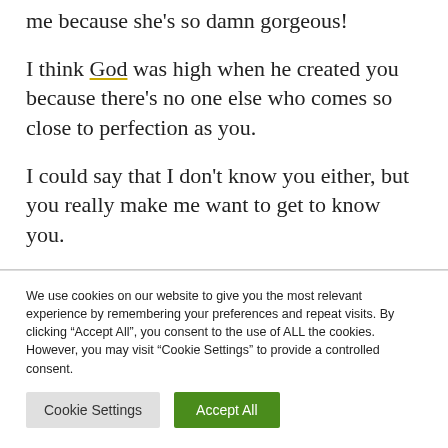me because she's so damn gorgeous!

I think God was high when he created you because there's no one else who comes so close to perfection as you.

I could say that I don't know you either, but you really make me want to get to know you.

You're a conundrum. Out of all the people in
We use cookies on our website to give you the most relevant experience by remembering your preferences and repeat visits. By clicking "Accept All", you consent to the use of ALL the cookies. However, you may visit "Cookie Settings" to provide a controlled consent.